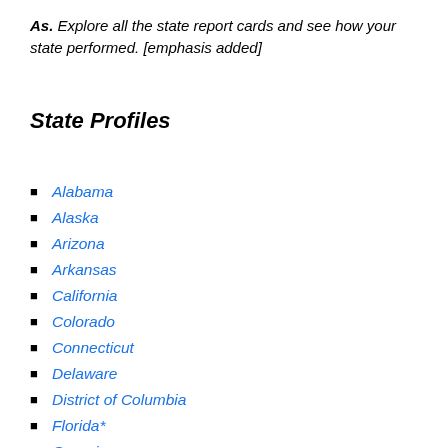As. Explore all the state report cards and see how your state performed. [emphasis added]
State Profiles
Alabama
Alaska
Arizona
Arkansas
California
Colorado
Connecticut
Delaware
District of Columbia
Florida*
Georgia